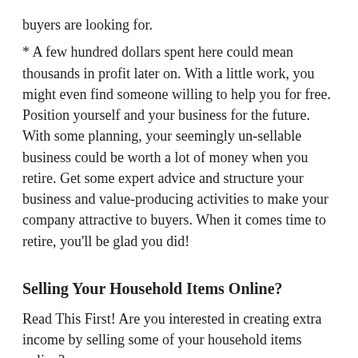buyers are looking for.
* A few hundred dollars spent here could mean thousands in profit later on. With a little work, you might even find someone willing to help you for free. Position yourself and your business for the future. With some planning, your seemingly un-sellable business could be worth a lot of money when you retire. Get some expert advice and structure your business and value-producing activities to make your company attractive to buyers. When it comes time to retire, you'll be glad you did!
Selling Your Household Items Online?
Read This First! Are you interested in creating extra income by selling some of your household items online?